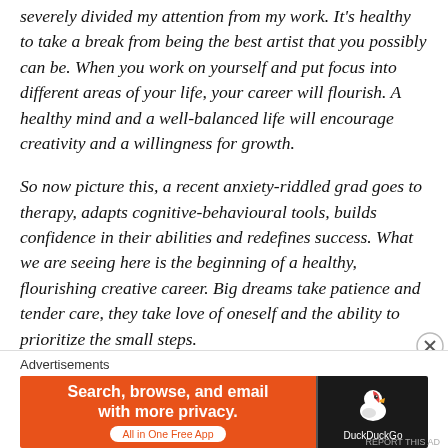severely divided my attention from my work. It's healthy to take a break from being the best artist that you possibly can be. When you work on yourself and put focus into different areas of your life, your career will flourish. A healthy mind and a well-balanced life will encourage creativity and a willingness for growth.
So now picture this, a recent anxiety-riddled grad goes to therapy, adapts cognitive-behavioural tools, builds confidence in their abilities and redefines success. What we are seeing here is the beginning of a healthy, flourishing creative career. Big dreams take patience and tender care, they take love of oneself and the ability to prioritize the small steps.
[Figure (other): DuckDuckGo advertisement banner with orange left panel reading 'Search, browse, and email with more privacy. All in One Free App' and dark right panel with DuckDuckGo duck logo]